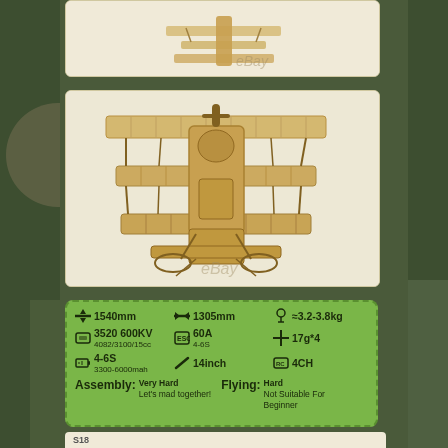[Figure (photo): Top partial view of a balsa wood RC triplane model kit against white background, with eBay watermark]
[Figure (photo): Full view of a balsa wood RC triplane model (likely Fokker Dr.1 style) assembled frame with three wings, with eBay watermark]
[Figure (infographic): Green specifications panel showing: wingspan 1540mm, length 1305mm, weight 3.2-3.8kg, motor 3520 600KV / 4082/3100/15cc, ESC 60A 4-6S, servo 17g*4, battery 4-6S 3300-6000mah, propeller 14inch, 4CH, Assembly: Very Hard Let's mad together, Flying: Hard Not Suitable For Beginner]
[Figure (photo): Bottom partial view of balsa wood triplane model S18 close-up showing front fuselage and engine cowl detail]